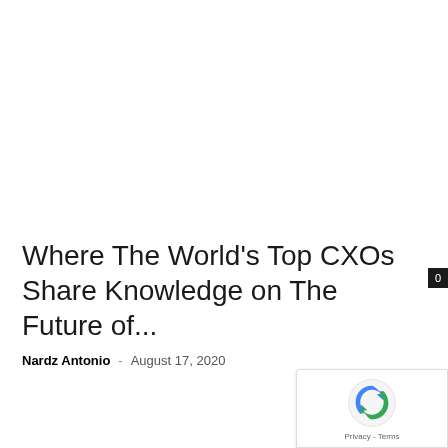Where The World's Top CXOs Share Knowledge on The Future of...
Nardz Antonio · August 17, 2020